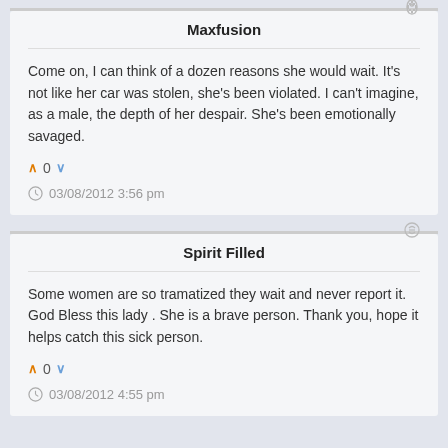Maxfusion
Come on, I can think of a dozen reasons she would wait. It's not like her car was stolen, she's been violated. I can't imagine, as a male, the depth of her despair. She's been emotionally savaged.
0
03/08/2012 3:56 pm
Spirit Filled
Some women are so tramatized they wait and never report it. God Bless this lady . She is a brave person. Thank you, hope it helps catch this sick person.
0
03/08/2012 4:55 pm